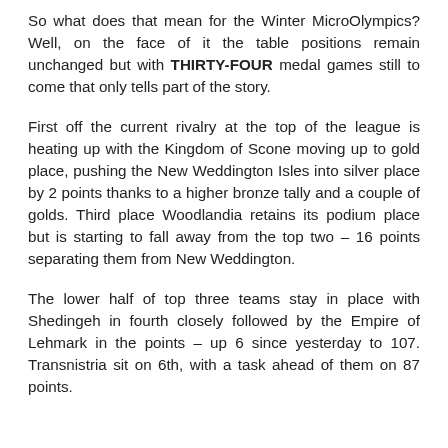So what does that mean for the Winter MicroOlympics? Well, on the face of it the table positions remain unchanged but with THIRTY-FOUR medal games still to come that only tells part of the story.
First off the current rivalry at the top of the league is heating up with the Kingdom of Scone moving up to gold place, pushing the New Weddington Isles into silver place by 2 points thanks to a higher bronze tally and a couple of golds. Third place Woodlandia retains its podium place but is starting to fall away from the top two – 16 points separating them from New Weddington.
The lower half of top three teams stay in place with Shedingeh in fourth closely followed by the Empire of Lehmark in the points – up 6 since yesterday to 107. Transnistria sit on 6th, with a task ahead of them on 87 points.